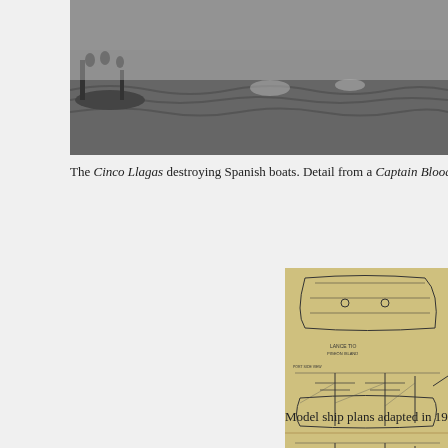[Figure (photo): Black and white photo of the Cinco Llagas destroying Spanish boats, a scene from the Captain Blood DVD.]
The Cinco Llagas destroying Spanish boats. Detail from a Captain Blood DVD s
[Figure (schematic): Model ship plans/blueprints showing detailed technical drawings of a sailing ship.]
Model ship plans adapted in 19